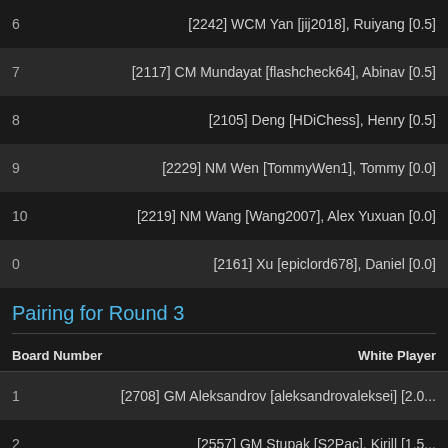| Board Number | White Player |
| --- | --- |
| 6 | [2242] WCM Yan [jij2018], Ruiyang [0.5] |
| 7 | [2117] CM Mundayat [flashcheck64], Abinav [0.5] |
| 8 | [2105] Deng [HDiChess], Henry [0.5] |
| 9 | [2229] NM Wen [TommyWen1], Tommy [0.0] |
| 10 | [2219] NM Wang [Wang2007], Alex Yuxuan [0.0] |
| 0 | [2161] Xu [epiclord678], Daniel [0.0] |
Pairing for Round 3
| Board Number | White Player |
| --- | --- |
| 1 | [2708] GM Aleksandrov [aleksandrovaleksei] [2.0... |
| 2 | [2557] GM Stupak [S2Pac], Kirill [1.5... |
| 3 | [2239] CM Kunka [ChessKidA8], Harshid [1.5... |